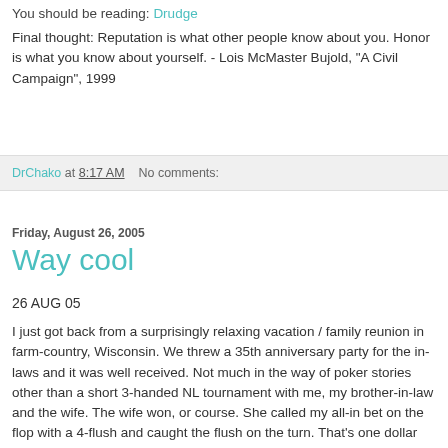You should be reading: Drudge
Final thought: Reputation is what other people know about you. Honor is what you know about yourself. - Lois McMaster Bujold, "A Civil Campaign", 1999
DrChako at 8:17 AM   No comments:
Friday, August 26, 2005
Way cool
26 AUG 05
I just got back from a surprisingly relaxing vacation / family reunion in farm-country, Wisconsin. We threw a 35th anniversary party for the in-laws and it was well received. Not much in the way of poker stories other than a short 3-handed NL tournament with me, my brother-in-law and the wife. The wife won, or course. She called my all-in bet on the flop with a 4-flush and caught the flush on the turn. That's one dollar out of the poker cap. Damn.